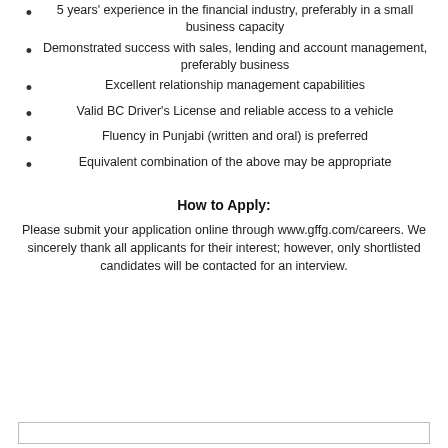5 years' experience in the financial industry, preferably in a small business capacity
Demonstrated success with sales, lending and account management, preferably business
Excellent relationship management capabilities
Valid BC Driver's License and reliable access to a vehicle
Fluency in Punjabi (written and oral) is preferred
Equivalent combination of the above may be appropriate
How to Apply:
Please submit your application online through www.gffg.com/careers. We sincerely thank all applicants for their interest; however, only shortlisted candidates will be contacted for an interview.